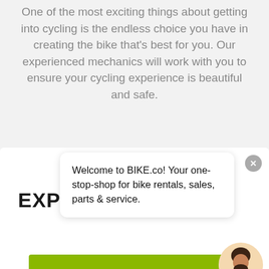One of the most exciting things about getting into cycling is the endless choice you have in creating the bike that's best for you. Our experienced mechanics will work with you to ensure your cycling experience is beautiful and safe.
[Figure (screenshot): A website screenshot showing a chat bot popup on BIKE.co website. The popup says 'Welcome to BIKE.co! Your one-stop-shop for bike rentals, sales, parts & service.' with a close button. Below is partially visible bold text 'EXPL...' and a green circle, plus the start of a green rectangle section. An avatar of a bearded man with a green online indicator dot is shown in the bottom right.]